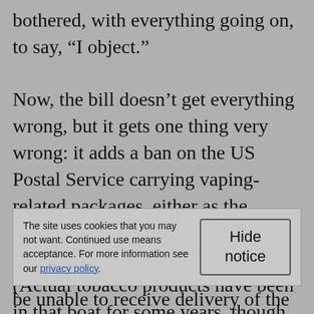bothered, with everything going on, to say, “I object.”

Now, the bill doesn’t get everything wrong, but it gets one thing very wrong: it adds a ban on the US Postal Service carrying vaping-related packages, either as the primary carrier or as a last-hop service for commercial carriers. (Actual tobacco products have been in that boat for some years, though cigars are exempted because
The site uses cookies that you may not want. Continued use means acceptance. For more information see our privacy policy.
Hide notice
be unable to receive delivery of the products